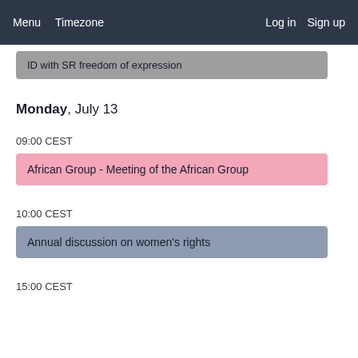Menu  Timezone  Log in  Sign up
ID with SR freedom of expression
Monday, July 13
09:00 CEST
African Group - Meeting of the African Group
10:00 CEST
Annual discussion on women's rights
15:00 CEST